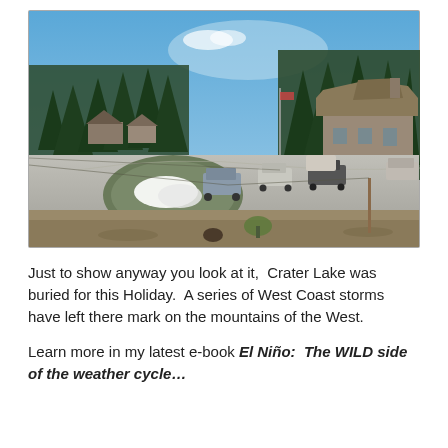[Figure (photo): Aerial or elevated view of Crater Lake park entrance area. A parking lot with several vehicles is visible, along with a circular landscaped island containing remnants of snow. A rustic stone building with a steep roof is seen on the right. Tall evergreen pine trees line the background under a clear blue sky.]
Just to show anyway you look at it,  Crater Lake was buried for this Holiday.  A series of West Coast storms have left there mark on the mountains of the West.
Learn more in my latest e-book El Niño:  The WILD side of the weather cycle…